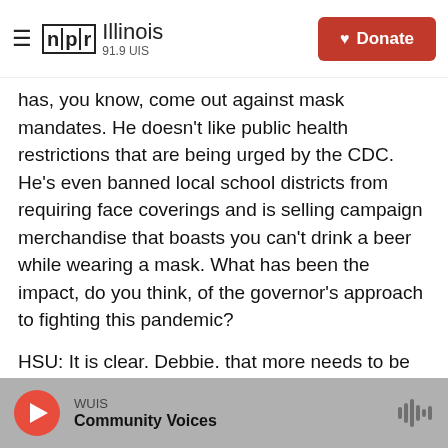NPR Illinois 91.9 UIS — Donate
has, you know, come out against mask mandates. He doesn't like public health restrictions that are being urged by the CDC. He's even banned local school districts from requiring face coverings and is selling campaign merchandise that boasts you can't drink a beer while wearing a mask. What has been the impact, do you think, of the governor's approach to fighting this pandemic?
HSU: It is clear, Debbie, that more needs to be done. Right now, the way things are going on in Florida, there's just way too much spread of that virus. We do know - the science is very clear; the
WUIS — Community Voices